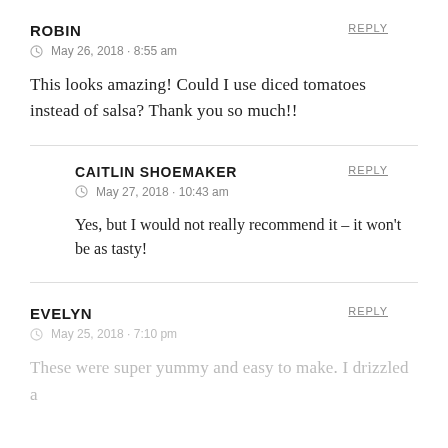ROBIN
REPLY
May 26, 2018 · 8:55 am
This looks amazing! Could I use diced tomatoes instead of salsa? Thank you so much!!
CAITLIN SHOEMAKER
REPLY
May 27, 2018 · 10:43 am
Yes, but I would not really recommend it – it won't be as tasty!
EVELYN
REPLY
May 25, 2018 · 7:10 pm
These were super yummy and easy to make. I drizzled a